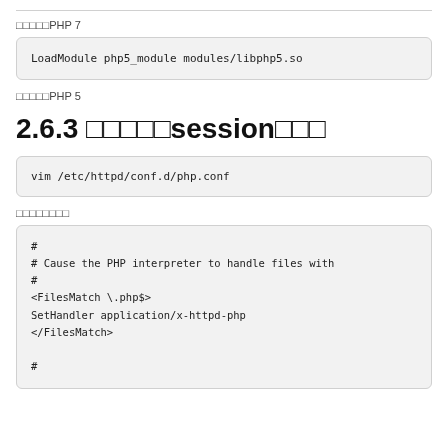対応するPHP 7
[Figure (screenshot): Code block: LoadModule php5_module modules/libphp5.so]
対応するPHP 5
2.6.3 セッションのsessionの設定
[Figure (screenshot): Code block: vim /etc/httpd/conf.d/php.conf]
以下のようです
[Figure (screenshot): Code block:
#
# Cause the PHP interpreter to handle files with
#
<FilesMatch \.php$>
SetHandler application/x-httpd-php
</FilesMatch>

#]